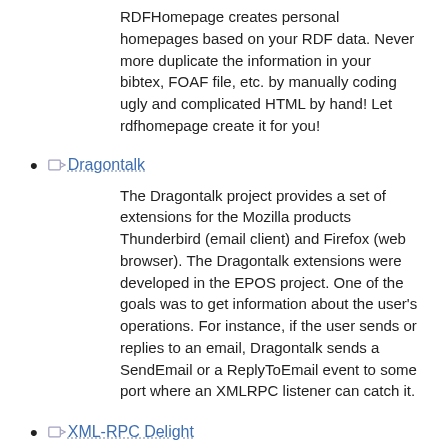RDFHomepage creates personal homepages based on your RDF data. Never more duplicate the information in your bibtex, FOAF file, etc. by manually coding ugly and complicated HTML by hand! Let rdfhomepage create it for you!
Dragontalk
The Dragontalk project provides a set of extensions for the Mozilla products Thunderbird (email client) and Firefox (web browser). The Dragontalk extensions were developed in the EPOS project. One of the goals was to get information about the user's operations. For instance, if the user sends or replies to an email, Dragontalk sends a SendEmail or a ReplyToEmail event to some port where an XMLRPC listener can catch it.
XML-RPC Delight
An add-on to Apache's XML-RPC implementation easing the use of XML-RPC calls with the help of dynamic proxies and Java 5 annotations.